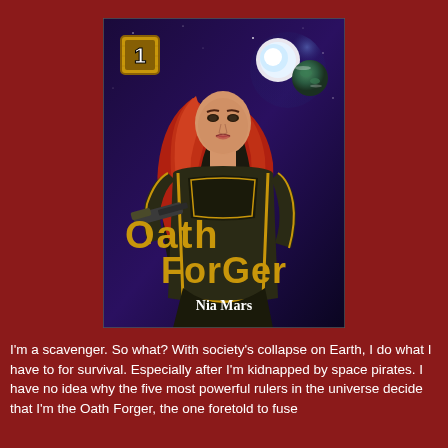[Figure (illustration): Book cover for 'Oath Forger' by Nia Mars. Shows a red-haired woman in dark armor holding a weapon, with a planet and moon visible in a purple space background. A gold number '1' badge is in the upper left. The title 'Oath Forger' is in large gold letters and author name 'Nia Mars' in white at the bottom.]
I'm a scavenger. So what? With society's collapse on Earth, I do what I have to for survival. Especially after I'm kidnapped by space pirates. I have no idea why the five most powerful rulers in the universe decide that I'm the Oath Forger, the one foretold to fuse between all...